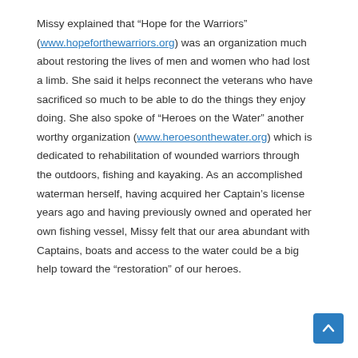Missy explained that “Hope for the Warriors” (www.hopeforthewarriors.org) was an organization much about restoring the lives of men and women who had lost a limb. She said it helps reconnect the veterans who have sacrificed so much to be able to do the things they enjoy doing. She also spoke of “Heroes on the Water” another worthy organization (www.heroesonthewater.org) which is dedicated to rehabilitation of wounded warriors through the outdoors, fishing and kayaking. As an accomplished waterman herself, having acquired her Captain’s license years ago and having previously owned and operated her own fishing vessel, Missy felt that our area abundant with Captains, boats and access to the water could be a big help toward the “restoration” of our heroes.